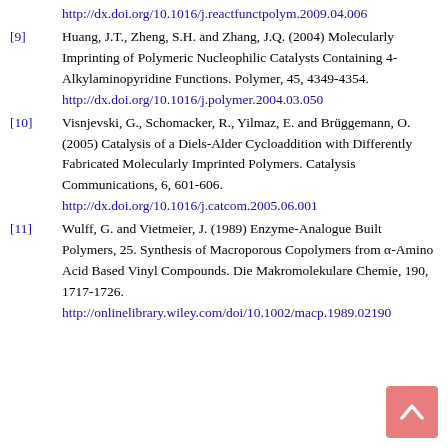http://dx.doi.org/10.1016/j.reactfunctpolym.2009.04.006
[9] Huang, J.T., Zheng, S.H. and Zhang, J.Q. (2004) Molecularly Imprinting of Polymeric Nucleophilic Catalysts Containing 4-Alkylaminopyridine Functions. Polymer, 45, 4349-4354. http://dx.doi.org/10.1016/j.polymer.2004.03.050
[10] Visnjevski, G., Schomacker, R., Yilmaz, E. and Brüggemann, O. (2005) Catalysis of a Diels-Alder Cycloaddition with Differently Fabricated Molecularly Imprinted Polymers. Catalysis Communications, 6, 601-606. http://dx.doi.org/10.1016/j.catcom.2005.06.001
[11] Wulff, G. and Vietmeier, J. (1989) Enzyme-Analogue Built Polymers, 25. Synthesis of Macroporous Copolymers from α-Amino Acid Based Vinyl Compounds. Die Makromolekulare Chemie, 190, 1717-1726. http://onlinelibrary.wiley.com/doi/10.1002/macp.1989.02190